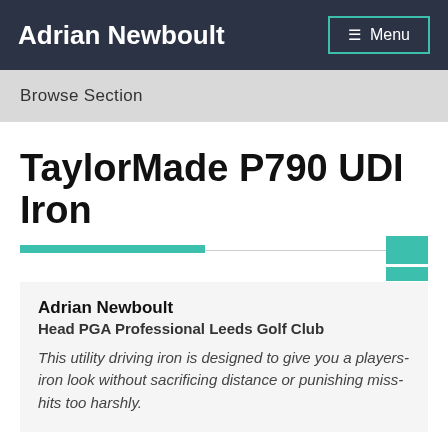Adrian Newboult
Browse Section
TaylorMade P790 UDI Iron
Adrian Newboult
Head PGA Professional Leeds Golf Club
This utility driving iron is designed to give you a players-iron look without sacrificing distance or punishing miss-hits too harshly.
The head is thinner in strategic areas to provide an extremely low